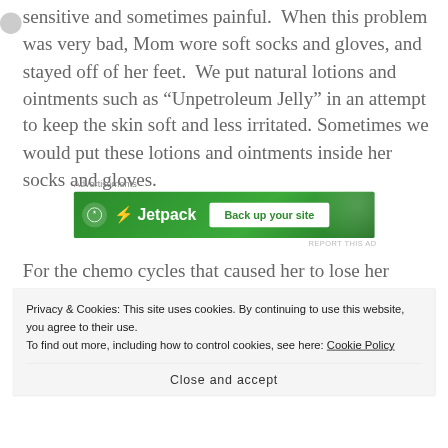sensitive and sometimes painful.  When this problem was very bad, Mom wore soft socks and gloves, and stayed off of her feet.  We put natural lotions and ointments such as “Unpetroleum Jelly” in an attempt to keep the skin soft and less irritated. Sometimes we would put these lotions and ointments inside her socks and gloves.
[Figure (other): Jetpack advertisement banner: green background with Jetpack logo and 'Back up your site' button]
For the chemo cycles that caused her to lose her hair,
Privacy & Cookies: This site uses cookies. By continuing to use this website, you agree to their use.
To find out more, including how to control cookies, see here: Cookie Policy

Close and accept